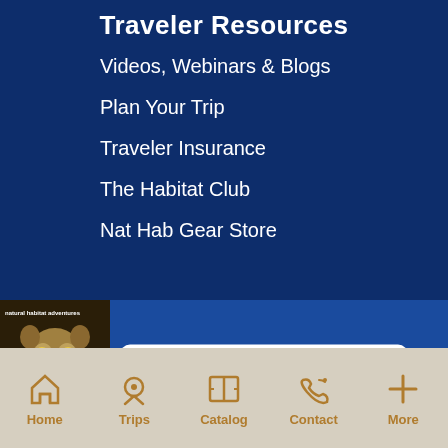Traveler Resources
Videos, Webinars & Blogs
Plan Your Trip
Traveler Insurance
The Habitat Club
Nat Hab Gear Store
[Figure (screenshot): Natural Habitat Adventures catalog with leopard cover image and 'Get the Catalog' button with close X]
Home  Trips  Catalog  Contact  More